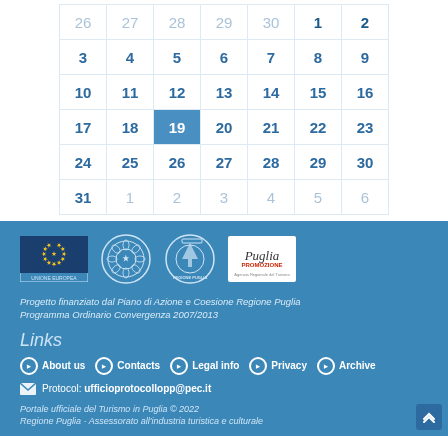| 26 | 27 | 28 | 29 | 30 | 1 | 2 |
| 3 | 4 | 5 | 6 | 7 | 8 | 9 |
| 10 | 11 | 12 | 13 | 14 | 15 | 16 |
| 17 | 18 | 19 | 20 | 21 | 22 | 23 |
| 24 | 25 | 26 | 27 | 28 | 29 | 30 |
| 31 | 1 | 2 | 3 | 4 | 5 | 6 |
[Figure (logo): Footer logos: EU flag (Unione Europea), Italian Republic emblem, Regione Puglia emblem, Puglia Promozione logo]
Progetto finanziato dal Piano di Azione e Coesione Regione Puglia Programma Ordinario Convergenza 2007/2013
Links
About us  Contacts  Legal info  Privacy  Archive
Protocol: ufficioprotocollopp@pec.it
Portale ufficiale del Turismo in Puglia © 2022 Regione Puglia - Assessorato all'industria turistica e culturale